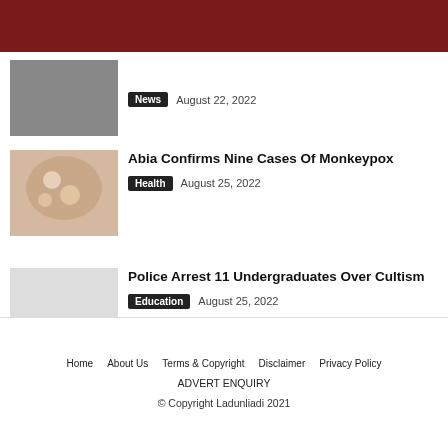News  August 22, 2022
Abia Confirms Nine Cases Of Monkeypox
Health  August 25, 2022
Police Arrest 11 Undergraduates Over Cultism
Education  August 25, 2022
Home  About Us  Terms & Copyright  Disclaimer  Privacy Policy  ADVERT ENQUIRY  © Copyright Ladunliadi 2021